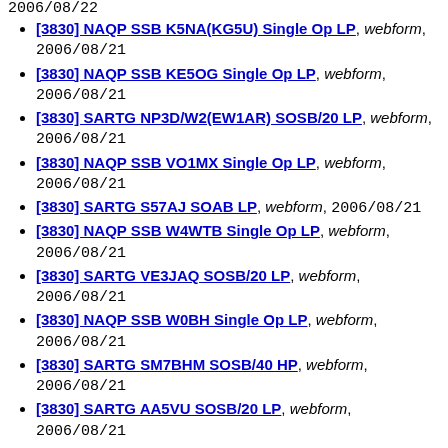[3830] NAQP SSB K5NA(KG5U) Single Op LP, webform, 2006/08/21
[3830] NAQP SSB KE5OG Single Op LP, webform, 2006/08/21
[3830] SARTG NP3D/W2(EW1AR) SOSB/20 LP, webform, 2006/08/21
[3830] NAQP SSB VO1MX Single Op LP, webform, 2006/08/21
[3830] SARTG S57AJ SOAB LP, webform, 2006/08/21
[3830] NAQP SSB W4WTB Single Op LP, webform, 2006/08/21
[3830] SARTG VE3JAQ SOSB/20 LP, webform, 2006/08/21
[3830] NAQP SSB W0BH Single Op LP, webform, 2006/08/21
[3830] SARTG SM7BHM SOSB/40 HP, webform, 2006/08/21
[3830] SARTG AA5VU SOSB/20 LP, webform, 2006/08/21
[3830] SARTG 4Z4TL SOAB LP, webform, 2006/08/21
[3830] NAQP SSB VE3ESH Single Op LP, webform, 2006/08/21
[3830] SARTG PA3EWP SOAB HP, webform, 2006/08/21
[3830] SARTG SV3EXU SOSB/20 HP, webform, 2006/08/21
[3830] NAQP SSB NT4TT Single Op LP, webform, 2006/08/21